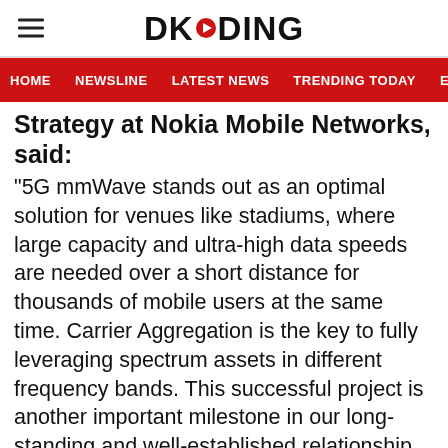DKODING
HOME   NEWSLINE   LATEST NEWS   TRENDING TODAY   ENT
Strategy at Nokia Mobile Networks, said:
“5G mmWave stands out as an optimal solution for venues like stadiums, where large capacity and ultra-high data speeds are needed over a short distance for thousands of mobile users at the same time. Carrier Aggregation is the key to fully leveraging spectrum assets in different frequency bands. This successful project is another important milestone in our long-standing and well-established relationship with Elisa and Qualcomm Technologies. We look forward to seeing visitors enjoy innovative 5G experiences at the Nokia Arena soon.”